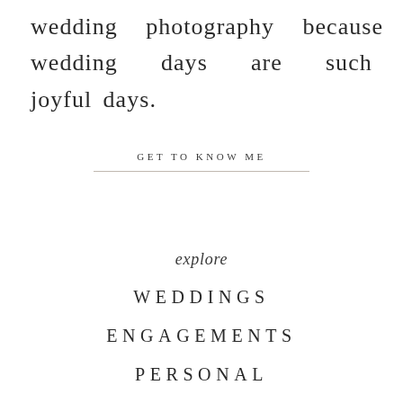wedding photography because wedding days are such joyful days.
GET TO KNOW ME
explore
WEDDINGS
ENGAGEMENTS
PERSONAL